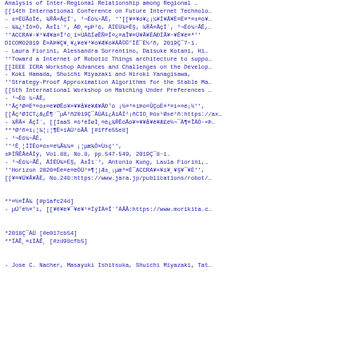Analysis of Inter-Regional Relationship among Regional ...
[[14th International Conference on Future Internet Technolo...
- ±»ËÜÃóÌê, ¾®Ã«ÃçÍ´, ²¬Éô¼÷ÃĒ, ''[[¥¤¥ó¥¿¡¼¥Í¥Ã¥È¤Ë¤ª¤±¤ö¥...
- ¾¾¿¹Íõ»Ò, À±Ìi´², ÁÐ¸«µÞ²ô, ÄÍËÜ¾»É§, ¾®Ã«ÃçÍ´, ²¬Éô¼÷ÃĒ,...
''ACCRA¥·¥¹¥Æ¥à¤Î²ô¸î»ÙÄßÍøÊÑ¤Î¤¿¤áÎ¥¤Ü¥Ã¥ÈÄÐÍÃ¥·¥Ê¥ê¤ª''
DICOMO2019 Ê»ÀÞ¥Ç¥¸¥¿¥ë¥³¥ó¥Æ¥ó¥ÄÃ©©°ÌÊ¯É½²ñ, 2019Ç¯7·î.
- Laura Fiorini, Alessandra Sorrentino, Daisuke Kotani, Hi...
''Toward a Internet of Robotic Things architecture to suppo...
[[IEEE ICRA Workshop Advances and Challenges on the Develop...
- Koki Hamada, Shuichi Miyazaki and Hiroki Yanagisawa,
''Strategy-Proof Approximation Algorithms for the Stable Ma...
[[5th International Workshop on Matching Under Preferences ...
- ²¬Éô ¼÷ÃĒ,
''Ãç³Ø¤Ëª¤ó±¤ë¥ØÊó¥»¥¥å¥ê¥Æ¥ÃÐ°ö ¡½¤³¤ìÞó¤ÛÇoÈ¤³¤ì«¤é¡½'',
[[Ãç³ØICT¿ã¿Ê¶¨¯µÄ²ñ2019Ç¯ÀÙÄï¿ÀiÁÍ²¡ñCIO¸Þó±¹Ø±é²ñ:https://ax...
- ¾®Ã« ÃçÍ´, [[IaaS ¤ò³èÍøÌ¸¤ë¿¾®ÊóÅó¥»¥¥å¥ê¥Æ£é½¬¯Ä¶¤ÎÀÒ·×Þ...
**³Ø²ñ»ï¡¦¾¦¡¦¶È»ïÀÙ²òÃÂ [#1ffe55e8]
- ²¬Éô¼÷ÃĒ,
''²Ê¸¦ÌÏÊó¤ó±¤ë¼Ã¾¼¤ ¡¦µæ¾Ô»Ù±ç'',
±ÞÍÑÊÅéÁÍý, Vol.88, No.8, pp.547-549, 2019Ç¯8·î.
- ²¬Éô¼÷ÃĒ, ÄÍËÜ¾»É§, À±Ìi´², Antonio Kung, Laula Fiorini,...
''Horizon 2020¤Ëé¤è¤ëÒÜ²¤¶¦|Æ±¸¡µæ³«È¯ACCRA¥×¥í¥¸¥§¥¯¥È'',
[[¥¤¥Ü¥Ã¥ÃÈ, No.248:https://www.jara.jp/publications/robot/...
**¤½¤ÎÃ¾ [#p1afc24d]
- µÜ°é½¤°ì, [[¥¢¥ë¥¯¥é¥¹¤ÍýÏÀ¤Î´°ÄÃÂ:https://www.morikita.c...
*2018Ç¯ÀÙ [#e017cb54]
**ÏÀÊ¸»ïÏÀÊ¸ [#zd98cfb5]
- Jose C. Nacher, Masayuki Ishitsuka, Shuichi Miyazaki, Tat...